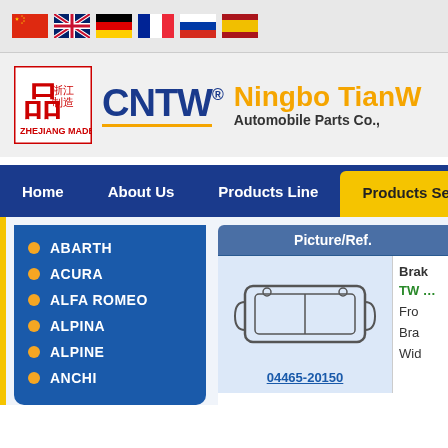[Figure (screenshot): Flag icons row: China, UK, Germany, France, Russia, Spain]
[Figure (logo): CNTW Ningbo TianW Automobile Parts Co. logo with Zhejiang Made badge]
Home | About Us | Products Line | Products Search
ABARTH
ACURA
ALFA ROMEO
ALPINA
ALPINE
ANCHI
| Picture/Ref. |  |
| --- | --- |
| [brake pad image] 04465-20150 | Brak TW  Fro Bra Wid |
04465-20150